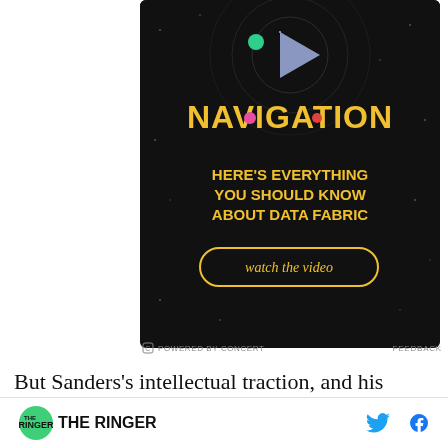[Figure (infographic): Advertisement banner with dark background showing 'NAVIGATION' in large yellow bold text, subtitle 'HERE'S EVERYTHING YOU SHOULD KNOW ABOUT DATA FABRIC' and a 'watch the video' button. Powered by Concert footer with Feedback link.]
But Sanders's intellectual traction, and his
THE RINGER